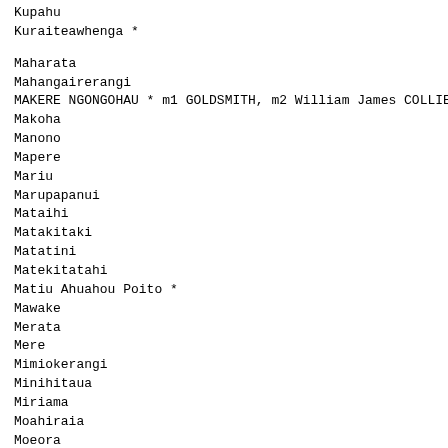Kupahu
Kuraiteawhenga *
Maharata
Mahangairerangi
MAKERE NGONGOHAU * m1 GOLDSMITH, m2 William James COLLIER
Makoha
Manono
Mapere
Mariu
Marupapanui
Mataihi
Matakitaki
Matatini
Matekitatahi
Matiu Ahuahou Poito *
Mawake
Merata
Mere
Mimiokerangi
Minihitaua
Miriama
Moahiraia
Moeora
Mohututahanga
Muriwhakaputa *
Nanaia
Nepia
Ngapouhaere